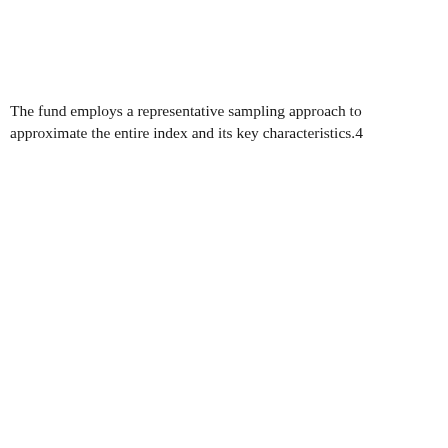The fund employs a representative sampling approach to approximate the entire index and its key characteristics.4